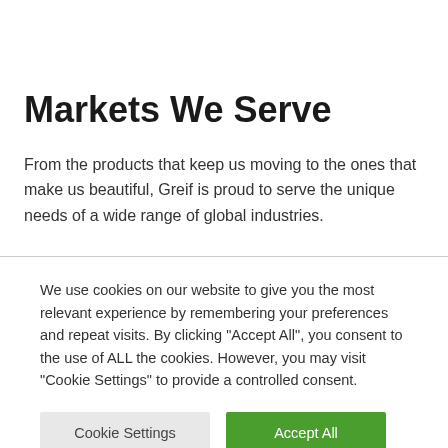Markets We Serve
From the products that keep us moving to the ones that make us beautiful, Greif is proud to serve the unique needs of a wide range of global industries.
We use cookies on our website to give you the most relevant experience by remembering your preferences and repeat visits. By clicking "Accept All", you consent to the use of ALL the cookies. However, you may visit "Cookie Settings" to provide a controlled consent.